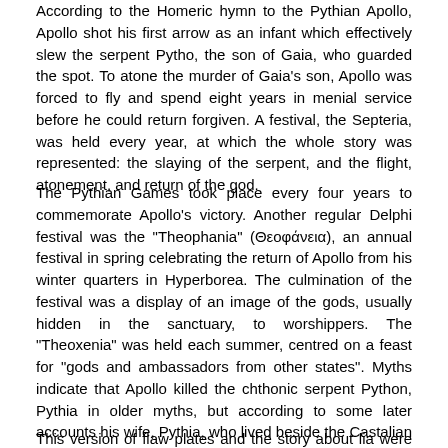According to the Homeric hymn to the Pythian Apollo, Apollo shot his first arrow as an infant which effectively slew the serpent Pytho, the son of Gaia, who guarded the spot. To atone the murder of Gaia's son, Apollo was forced to fly and spend eight years in menial service before he could return forgiven. A festival, the Septeria, was held every year, at which the whole story was represented: the slaying of the serpent, and the flight, atonement, and return of the god.
The Pythian Games took place every four years to commemorate Apollo's victory. Another regular Delphi festival was the "Theophania" (Θεοφάνεια), an annual festival in spring celebrating the return of Apollo from his winter quarters in Hyperborea. The culmination of the festival was a display of an image of the gods, usually hidden in the sanctuary, to worshippers. The "Theoxenia" was held each summer, centred on a feast for "gods and ambassadors from other states". Myths indicate that Apollo killed the chthonic serpent Python, Pythia in older myths, but according to some later accounts his wife, Pythia, who lived beside the Castalian Spring. Some sources say it is because Python had attempted to rape Leto while she was pregnant with Apollo and Artemis.
This version of events and the story about divine power and domination...